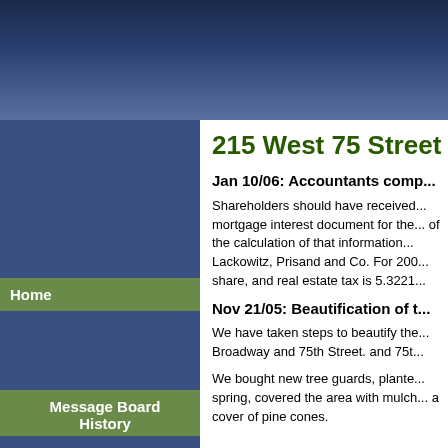215 West 75 Street
Jan 10/06: Accountants comp...
Shareholders should have received... mortgage interest document for the... of the calculation of that information... Lackowitz, Prisand and Co. For 200... share, and real estate tax is 5.3221...
Nov 21/05: Beautification of t...
We have taken steps to beautify the... Broadway and 75th Street. and 75t...
We bought new tree guards, plante... spring, covered the area with mulch... a cover of pine cones.
Home
Message Board
History